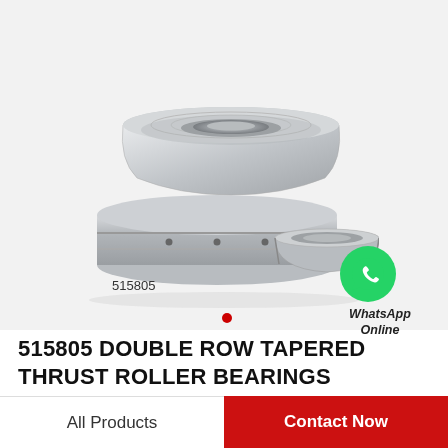[Figure (photo): Product photo of 515805 double row tapered thrust roller bearing assembly showing three metal bearing rings stacked together with a loose ring component, all in silver/steel finish, on a light gray background. Part number 515805 labeled below.]
[Figure (logo): WhatsApp green circle icon with white phone handset symbol, with text 'WhatsApp Online' below in italic bold]
515805 DOUBLE ROW TAPERED THRUST ROLLER BEARINGS
All Products
Contact Now